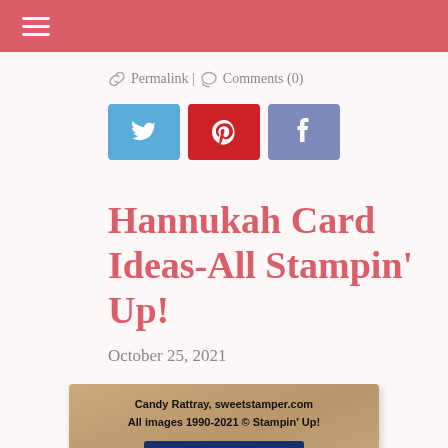≡ (hamburger menu)
Permalink | Comments (0)
[Figure (infographic): Three social sharing buttons: Twitter (blue bird icon), Pinterest (red P icon), Facebook (blue-grey f icon)]
Hannukah Card Ideas-All Stampin' Up!
October 25, 2021
[Figure (photo): A Hannukah card on a wood background with a mint and navy blue card design, watermarked with 'Candy Rattray, sweetstamper.com / All images 1990-2021 © Stampin' Up!']